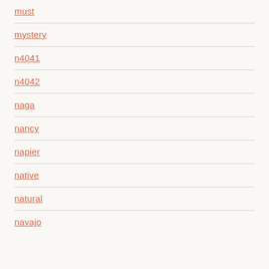must
mystery
n4041
n4042
naga
nancy
napier
native
natural
navajo